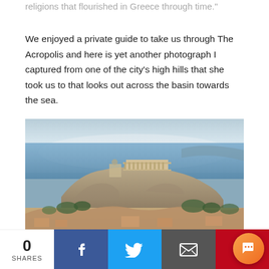religions that flourished in Greece through time."
We enjoyed a private guide to take us through The Acropolis and here is yet another photograph I captured from one of the city’s high hills that she took us to that looks out across the basin towards the sea.
[Figure (photo): Panoramic view of the Acropolis of Athens with the Parthenon visible on top of the rocky hill, surrounded by the city of Athens, with the sea visible in the background under a hazy sky.]
0 SHARES | Facebook | Twitter | Email | Pinterest